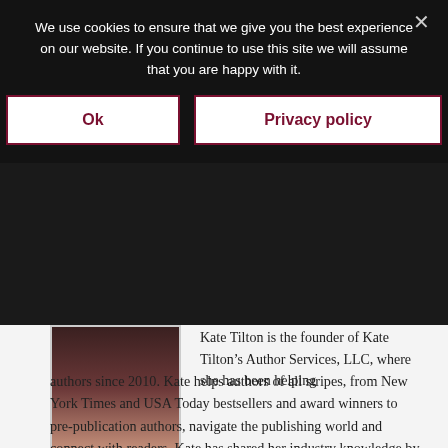We use cookies to ensure that we give you the best experience on our website. If you continue to use this site we will assume that you are happy with it.
Ok
Privacy policy
[Figure (photo): Partial photo of a person with dark hair, visible in lower portion of page behind the cookie overlay]
Kate Tilton is the founder of Kate Tilton’s Author Services, LLC, where she has been helping authors since 2010. Kate helps authors of all stripes, from New York Times and USA Today bestsellers and award winners to pre-publication authors, navigate the publishing world and connect with readers. Kate has shared her industry knowledge by contributing to The Self-Publisher’s Ultimate Resource Guide (2016) and has appeared in Publishers